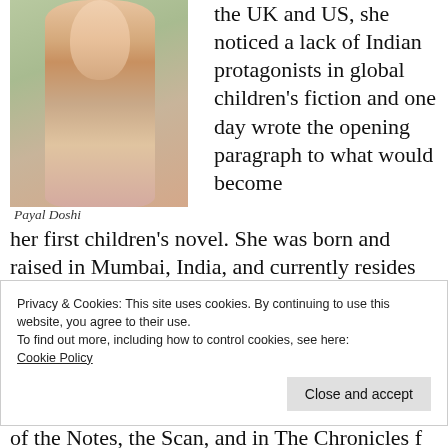[Figure (photo): Photo of Payal Doshi, a woman in a pink/purple floral dress standing outdoors with greenery in the background]
Payal Doshi
the UK and US, she noticed a lack of Indian protagonists in global children's fiction and one day wrote the opening paragraph to what would become her first children's novel. She was born and raised in Mumbai, India, and currently resides in Minneapolis, Minnesota with her husband and three-year-old daughter. When she isn't
Privacy & Cookies: This site uses cookies. By continuing to use this website, you agree to their use.
To find out more, including how to control cookies, see here: Cookie Policy
Close and accept
of the Notes, the Scan, and in The Chronicles f...